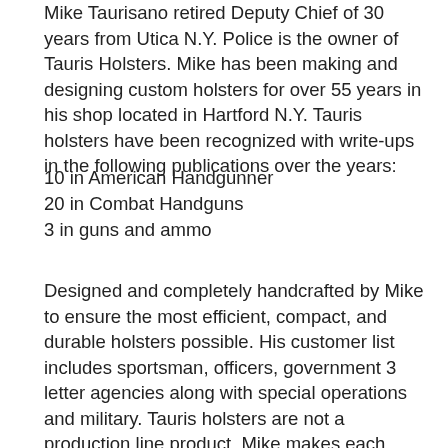Mike Taurisano retired Deputy Chief of 30 years from Utica N.Y. Police is the owner of Tauris Holsters. Mike has been making and designing custom holsters for over 55 years in his shop located in Hartford N.Y. Tauris holsters have been recognized with write-ups in the following publications over the years:
10 in American Handgunner
20 in Combat Handguns
3 in guns and ammo
Designed and completely handcrafted by Mike to ensure the most efficient, compact, and durable holsters possible. His customer list includes sportsman, officers, government 3 letter agencies along with special operations and military. Tauris holsters are not a production line product. Mike makes each order individually, giving personal attention to every detail of